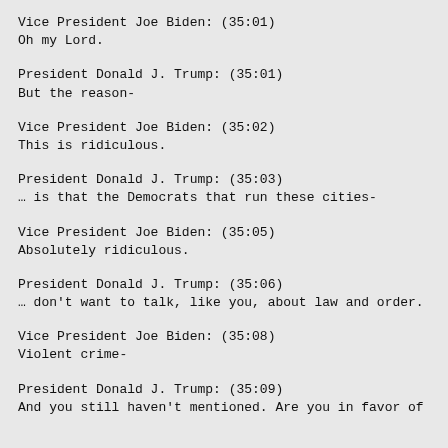Vice President Joe Biden: (35:01)
Oh my Lord.
President Donald J. Trump: (35:01)
But the reason-
Vice President Joe Biden: (35:02)
This is ridiculous.
President Donald J. Trump: (35:03)
… is that the Democrats that run these cities-
Vice President Joe Biden: (35:05)
Absolutely ridiculous.
President Donald J. Trump: (35:06)
… don't want to talk, like you, about law and order.
Vice President Joe Biden: (35:08)
Violent crime-
President Donald J. Trump: (35:09)
And you still haven't mentioned. Are you in favor of